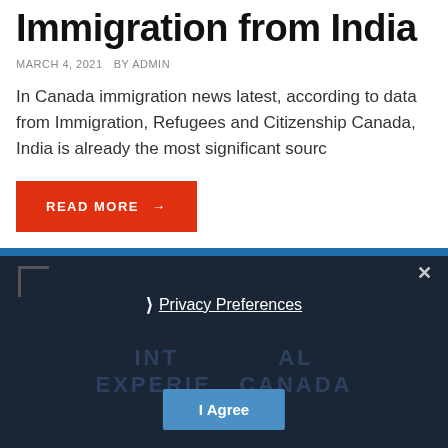Immigration from India
MARCH 4, 2021  BY ADMIN
In Canada immigration news latest, according to data from Immigration, Refugees and Citizenship Canada, India is already the most significant sourc
READ MORE →
[Figure (screenshot): Dark overlay popup with privacy preferences dialog, IEC (International Experience Canada) branding, close button, and I Agree button]
Privacy Preferences
I Agree